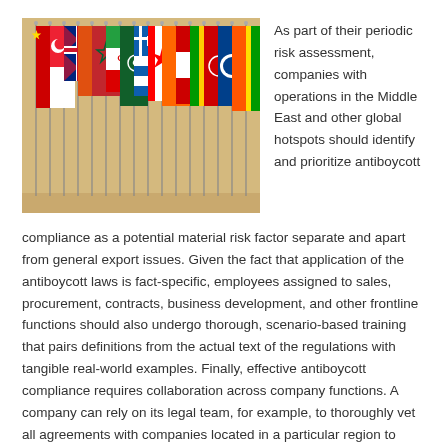[Figure (photo): Photograph of numerous international flags from various countries displayed on poles, including flags of the USA, Singapore, UK, Morocco, Canada, Greece, Iran, and others, arranged in a row against a warm beige/tan background.]
As part of their periodic risk assessment, companies with operations in the Middle East and other global hotspots should identify and prioritize antiboycott compliance as a potential material risk factor separate and apart from general export issues. Given the fact that application of the antiboycott laws is fact-specific, employees assigned to sales, procurement, contracts, business development, and other frontline functions should also undergo thorough, scenario-based training that pairs definitions from the actual text of the regulations with tangible real-world examples. Finally, effective antiboycott compliance requires collaboration across company functions. A company can rely on its legal team, for example, to thoroughly vet all agreements with companies located in a particular region to